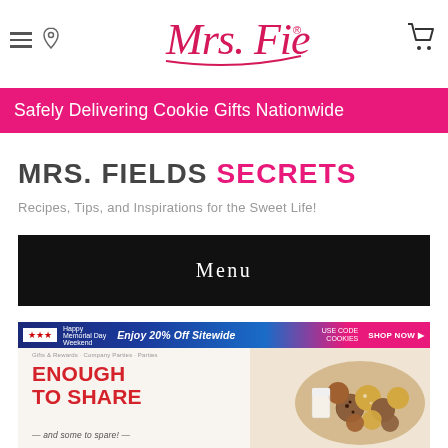[Figure (logo): Mrs. Fields script logo in red/pink cursive lettering]
Safely Delivering Cookie Gifts Nationwide
MRS. FIELDS SECRETS
Recipes, Tips, and Inspirations for the Sweet Life!
[Figure (screenshot): Black Menu button bar]
[Figure (screenshot): Promotional banner: Enjoy 20% Off Sitewide with SHOP NOW button]
[Figure (photo): Mrs. Fields product page showing ENOUGH TO SHARE text with cookie basket image]